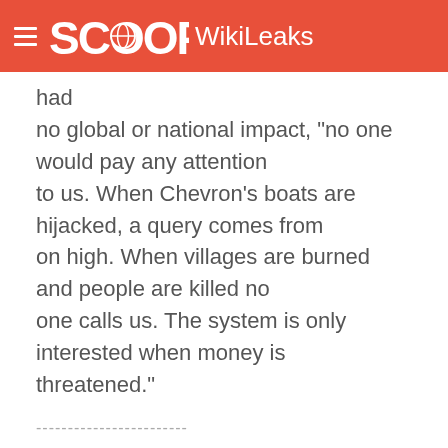SCOOP WikiLeaks
had no global or national impact, "no one would pay any attention to us. When Chevron's boats are hijacked, a query comes from on high. When villages are burned and people are killed no one calls us. The system is only interested when money is threatened."
------------------------
MORE ON THE WARRI FORUM
------------------------